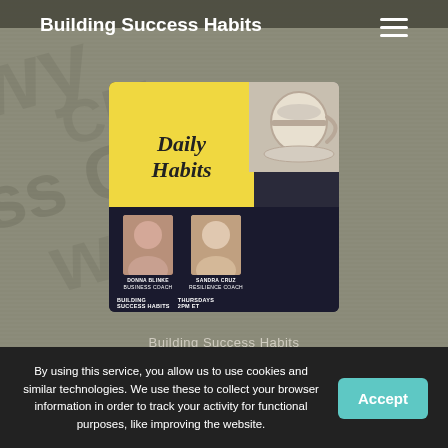Building Success Habits
[Figure (photo): Podcast promotional image showing a yellow sticky note with 'Daily Habits' text, two female hosts (Donna Blinke, Business Coach and Sandra Cruz, Resilience Coach), with show details: Building Success Habits, Thursdays 2PM ET, Podcast Live logo]
Building Success Habits
2.SUCCESS HABIT #1: VISION -
By using this service, you allow us to use cookies and similar technologies. We use these to collect your browser information in order to track your activity for functional purposes, like improving the website.